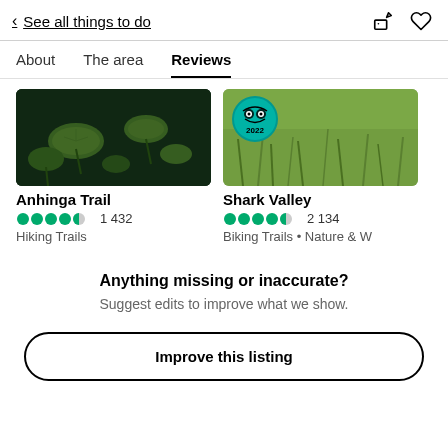< See all things to do
About
The area
Reviews
[Figure (photo): Anhinga Trail card with dark water lily pad image, 4.5 star rating, 1 432 reviews, Hiking Trails category]
[Figure (photo): Shark Valley card with green vegetation image and TripAdvisor 2022 badge, 4.5 star rating, 2 134 reviews, Biking Trails • Nature & W category]
Anything missing or inaccurate?
Suggest edits to improve what we show.
Improve this listing